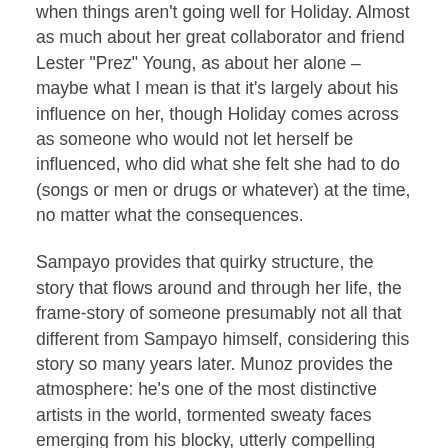when things aren't going well for Holiday. Almost as much about her great collaborator and friend Lester “Prez” Young, as about her alone – maybe what I mean is that it’s largely about his influence on her, though Holiday comes across as someone who would not let herself be influenced, who did what she felt she had to do (songs or men or drugs or whatever) at the time, no matter what the consequences.
Sampayo provides that quirky structure, the story that flows around and through her life, the frame-story of someone presumably not all that different from Sampayo himself, considering this story so many years later. Munoz provides the atmosphere: he’s one of the most distinctive artists in the world, tormented sweaty faces emerging from his blocky, utterly compelling slabs of ink.
This is probably a book largely for people who already know at least the outline of Holiday’s life; you won’t learn things very clearly here. Or, more obviously, for fans of other works